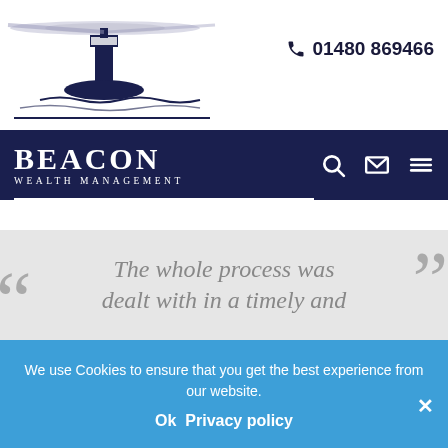[Figure (logo): Beacon Wealth Management lighthouse logo with spinning light beams on top of a dark navy lighthouse with water below]
01480 869466
[Figure (logo): BEACON WEALTH MANAGEMENT text logo in white on navy navigation bar with search, email, and hamburger menu icons]
The whole process was dealt with in a timely and
We use Cookies to ensure that you get the best experience from our website.
Ok  Privacy policy